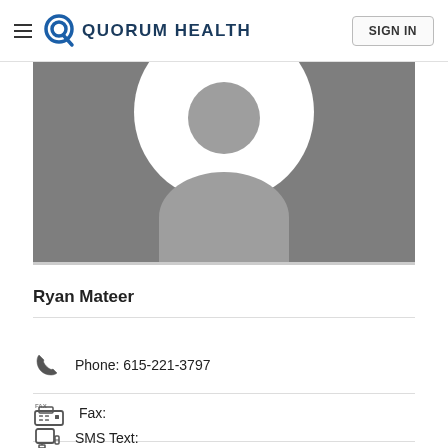Quorum Health — SIGN IN
[Figure (photo): Default user avatar/silhouette on grey background — partial view of circular white avatar with grey head and body shapes]
Ryan Mateer
Phone: 615-221-3797
Fax:
SMS Text: